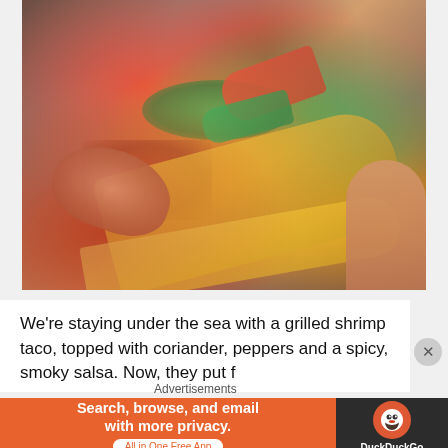[Figure (photo): Close-up photo of a grilled shrimp taco held in hand, topped with coriander, red and green peppers, and a spicy smoky salsa, showing the corn tortilla shell with filling]
We're staying under the sea with a grilled shrimp taco, topped with coriander, peppers and a spicy, smoky salsa. Now, they put f...
Advertisements
[Figure (screenshot): DuckDuckGo advertisement banner: 'Search, browse, and email with more privacy. All in One Free App' with DuckDuckGo logo on dark background on the right]